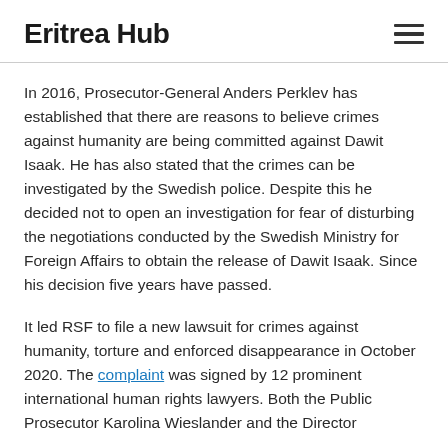Eritrea Hub
In 2016, Prosecutor-General Anders Perklev has established that there are reasons to believe crimes against humanity are being committed against Dawit Isaak. He has also stated that the crimes can be investigated by the Swedish police. Despite this he decided not to open an investigation for fear of disturbing the negotiations conducted by the Swedish Ministry for Foreign Affairs to obtain the release of Dawit Isaak. Since his decision five years have passed.
It led RSF to file a new lawsuit for crimes against humanity, torture and enforced disappearance in October 2020. The complaint was signed by 12 prominent international human rights lawyers. Both the Public Prosecutor Karolina Wieslander and the Director